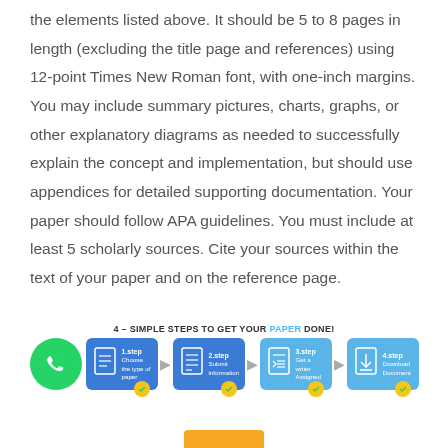the elements listed above. It should be 5 to 8 pages in length (excluding the title page and references) using 12-point Times New Roman font, with one-inch margins. You may include summary pictures, charts, graphs, or other explanatory diagrams as needed to successfully explain the concept and implementation, but should use appendices for detailed supporting documentation. Your paper should follow APA guidelines. You must include at least 5 scholarly sources. Cite your sources within the text of your paper and on the reference page.
[Figure (infographic): 4 simple steps to get your paper done infographic with WhatsApp icon and 4 numbered steps: 1.step Choose the type of paper, 2.step Submit information, 3.step Get a writer Assigned, 4.step Download Document]